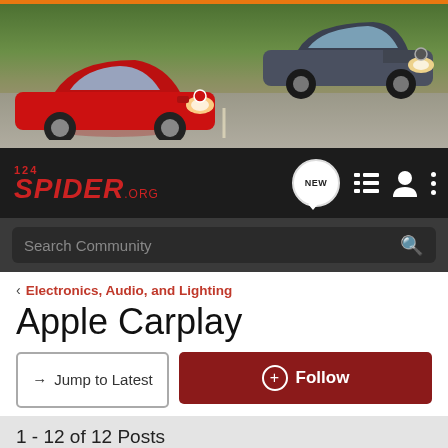[Figure (photo): Banner image showing two Fiat 124 Spider cars driving on a road — a red convertible on the left and a grey coupe on the right, with green trees in the background.]
124SPIDER.ORG — navigation bar with NEW, list, user, and menu icons, plus Search Community search bar
< Electronics, Audio, and Lighting
Apple Carplay
→ Jump to Latest    ⊕ Follow
1 - 12 of 12 Posts
melges · Registered
Joined Jul 8, 2016 · 28 Posts